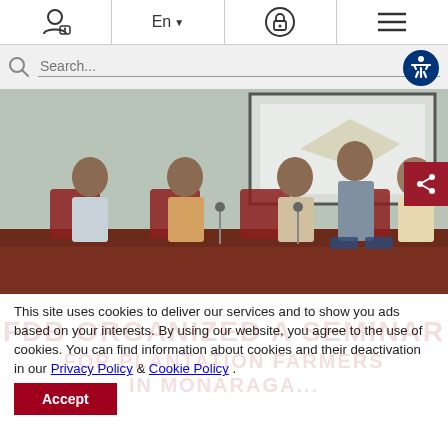Navigation bar with user/lock icons, language selector (En), accessibility, and menu
[Figure (screenshot): Search bar with magnifying glass icon and accessibility button on right]
[Figure (photo): Panel of five people seated at a long wooden table in a conference/seminar room, one woman standing and speaking at a microphone, projection screen visible in background]
This site uses cookies to deliver our services and to show you ads based on your interests. By using our website, you agree to the use of cookies. You can find information about cookies and their deactivation in our Privacy Policy & Cookie Policy .
Accept